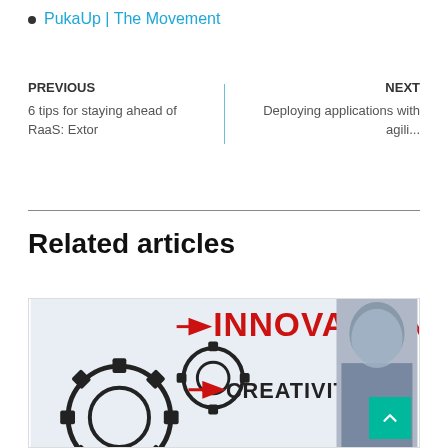PukaUp | The Movement
PREVIOUS
6 tips for staying ahead of RaaS: Extor
NEXT
Deploying applications with agili...
Related articles
[Figure (photo): Photo showing gears with text INNOVATION in red and CREATIVITY in black, with a yellow BLOG badge overlay, and a person in the background. Green scroll-to-top button in bottom right corner.]